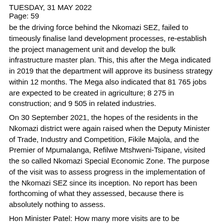TUESDAY, 31 MAY 2022
Page: 59
be the driving force behind the Nkomazi SEZ, failed to timeously finalise land development processes, re-establish the project management unit and develop the bulk infrastructure master plan. This, this after the Mega indicated in 2019 that the department will approve its business strategy within 12 months. The Mega also indicated that 81 765 jobs are expected to be created in agriculture; 8 275 in construction; and 9 505 in related industries.
On 30 September 2021, the hopes of the residents in the Nkomazi district were again raised when the Deputy Minister of Trade, Industry and Competition, Fikile Majola, and the Premier of Mpumalanga, Refilwe Mtshweni-Tsipane, visited the so called Nkomazi Special Economic Zone. The purpose of the visit was to assess progress in the implementation of the Nkomazi SEZ since its inception. No report has been forthcoming of what they assessed, because there is absolutely nothing to assess.
Hon Minister Patel: How many more visits are to be undertaken; how many more feasibility studies are to be undertaken; and how much more in monetary funding will be spent before the residents of Nkomazi and Mpumalanga can enjoy the fruits that